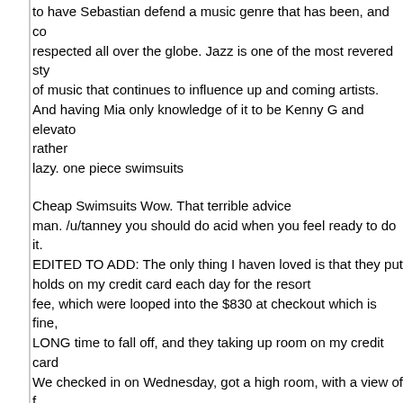to have Sebastian defend a music genre that has been, and co respected all over the globe. Jazz is one of the most revered sty of music that continues to influence up and coming artists. And having Mia only knowledge of it to be Kenny G and elevato rather lazy. one piece swimsuits
Cheap Swimsuits Wow. That terrible advice man. /u/tanney you should do acid when you feel ready to do it. EDITED TO ADD: The only thing I haven loved is that they put holds on my credit card each day for the resort fee, which were looped into the $830 at checkout which is fine, LONG time to fall off, and they taking up room on my credit card We checked in on Wednesday, got a high room, with a view of f
We surprisingly got a really good view without the $20 tip, was just very kind to the clerk. Cheap Swimsuits
Another way I keep myself interested in exercising is experimen try to keep improving my exercise performance,